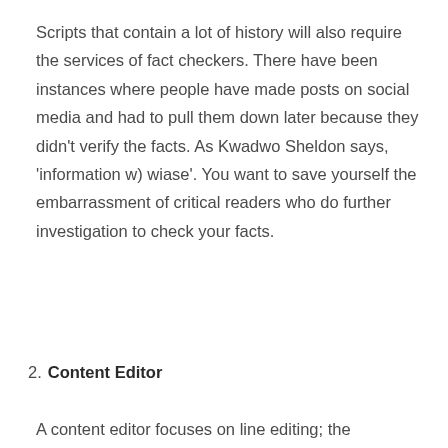Scripts that contain a lot of history will also require the services of fact checkers. There have been instances where people have made posts on social media and had to pull them down later because they didn't verify the facts. As Kwadwo Sheldon says, 'information w) wiase'. You want to save yourself the embarrassment of critical readers who do further investigation to check your facts.
2.  Content Editor
A content editor focuses on line editing; the